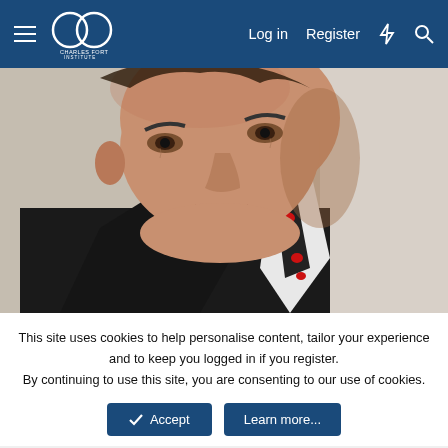Charles Fort Institute — Log in  Register
[Figure (photo): Close-up photo of a bald middle-aged man in a dark suit with white shirt and dark tie with red pattern, looking slightly downward toward camera]
This site uses cookies to help personalise content, tailor your experience and to keep you logged in if you register.
By continuing to use this site, you are consenting to our use of cookies.
✓ Accept    Learn more...